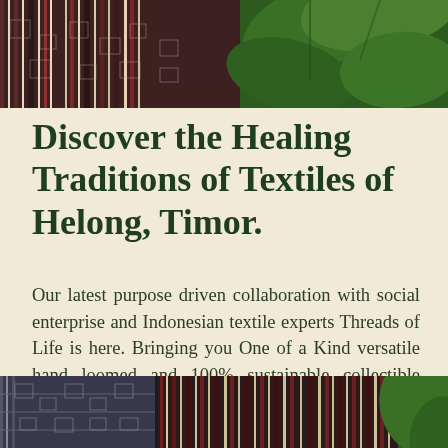[Figure (photo): Top image showing woven Indonesian textiles with geometric patterns in dark maroon and white stripes, alongside large green tropical leaves on the right side.]
Discover the Healing Traditions of Textiles of Helong, Timor.
Our latest purpose driven collaboration with social enterprise and Indonesian textile experts Threads of Life is here. Bringing you One of a Kind versatile hand loomed and 100% sustainable collectible pieces for you and your home.
[Figure (photo): Bottom image showing close-up of handwoven Indonesian textiles with intricate geometric patterns in dark grey/blue and white, with maroon striped fabric visible to the right, and a hint of green foliage on the far right.]